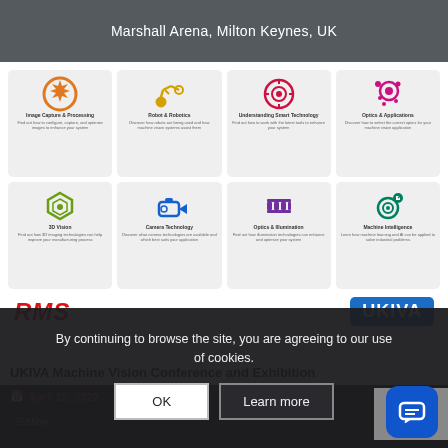Marshall Arena, Milton Keynes, UK
[Figure (infographic): Grid of 8 topic cards for UKIVA Machine Vision Conference, each with a colored icon and short description. Topics include: Image Capture & Processing, Robot & Robotics, Understanding Smart Technology, Optics & Applications, 3D Vision, Camera Technology, Optics & Illumination, Machine Intelligence. Below the cards are two logos: RMS (red italic) and UKIVA (blue).]
UKIVA Machine Vision Conference and Exhibition
April 28, 2022
By continuing to browse the site, you are agreeing to our use of cookies.
Show
OK
Learn more